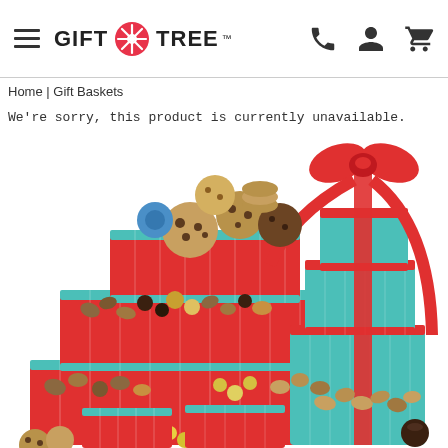GIFT TREE
Home | Gift Baskets
We're sorry, this product is currently unavailable.
[Figure (photo): A tall tower of holiday gift boxes wrapped in red and teal, topped with a large red bow, overflowing with cookies, nuts, chocolates, and candies arranged in multiple tiers.]